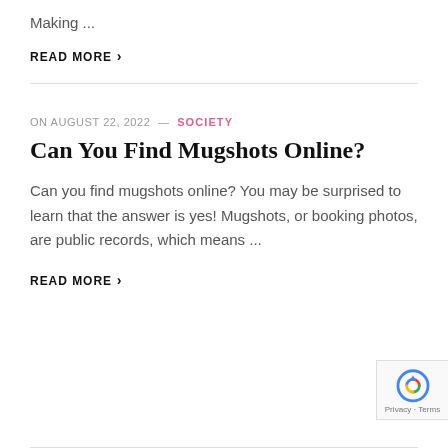Making ...
READ MORE ›
ON AUGUST 22, 2022 — SOCIETY
Can You Find Mugshots Online?
Can you find mugshots online? You may be surprised to learn that the answer is yes! Mugshots, or booking photos, are public records, which means ...
READ MORE ›